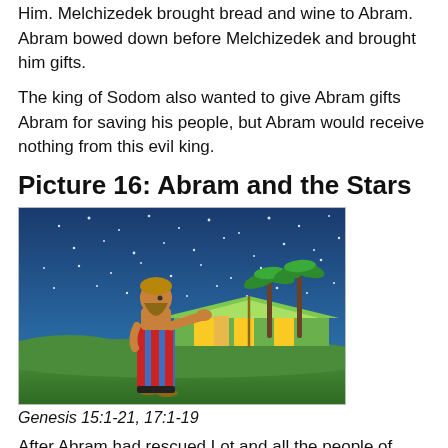Him. Melchizedek brought bread and wine to Abram. Abram bowed down before Melchizedek and brought him gifts.
The king of Sodom also wanted to give Abram gifts Abram for saving his people, but Abram would receive nothing from this evil king.
Picture 16: Abram and the Stars
[Figure (illustration): Illustration of Abram standing in a night scene, wearing a colorful striped robe, gesturing with one arm outstretched toward a starry blue sky. Behind him is a tent with green and yellow stripes, palm trees, and rolling green hills.]
Genesis 15:1-21, 17:1-19
After Abram had rescued Lot and all the people of Sodom,